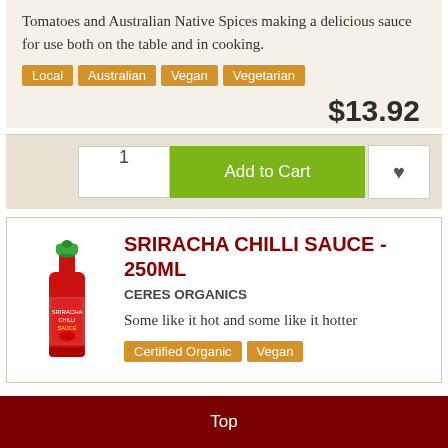Tomatoes and Australian Native Spices making a delicious sauce for use both on the table and in cooking.
Local
Australian
Vegan
Vegetarian
$13.92
1
Add to Cart
[Figure (illustration): Sriracha chilli sauce bottle, red with green cap, 250ml]
SRIRACHA CHILLI SAUCE - 250ML
CERES ORGANICS
Some like it hot and some like it hotter
Certified Organic
Vegan
Top